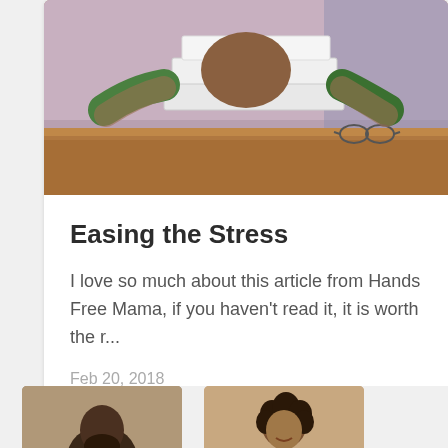[Figure (photo): Person hiding face behind a stack of books on a table, wearing a green top, stressed student]
Easing the Stress
I love so much about this article from Hands Free Mama, if you haven't read it, it is worth the r...
Feb 20, 2018
Read More
[Figure (photo): Partial photo of a man with beard, bottom of page]
[Figure (photo): Partial photo of a woman with curly hair, bottom of page]